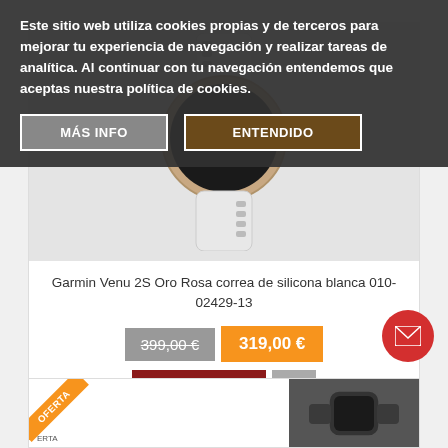Este sitio web utiliza cookies propias y de terceros para mejorar tu experiencia de navegación y realizar tareas de analítica. Al continuar con tu navegación entendemos que aceptas nuestra política de cookies.
MÁS INFO
ENTENDIDO
[Figure (photo): Garmin Venu 2S smartwatch with rose gold case and white silicone band]
Garmin Venu 2S Oro Rosa correa de silicona blanca 010-02429-13
399,00 €
319,00 €
COMPRAR
[Figure (photo): Second product card partially visible at bottom, dark smartwatch/fitness band]